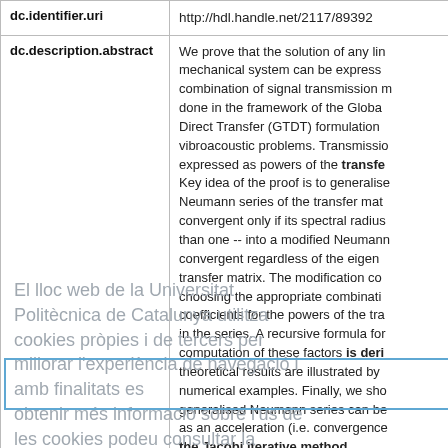| Field | Value |
| --- | --- |
| dc.identifier.uri | http://hdl.handle.net/2117/89392 |
| dc.description.abstract | We prove that the solution of any linear mechanical system can be expressed as a combination of signal transmission matrices done in the framework of the Global Tridiagonal Direct Transfer (GTDT) formulation for vibroacoustic problems. Transmission matrices expressed as powers of the transfer matrix. Key idea of the proof is to generalise the Neumann series of the transfer matrix -- convergent only if its spectral radius is less than one -- into a modified Neumann series convergent regardless of the eigenvalues of the transfer matrix. The modification consists in choosing the appropriate combination of coefficients for the powers of the transfer matrix in the series. A recursive formula for the computation of these factors is derived. The theoretical results are illustrated by numerical examples. Finally, we show that the generalised Neumann series can be interpreted as an acceleration (i.e. convergence) of the Jacobi iterative method. |
El lloc web de la Universitat Politècnica de Catalunya utilitza cookies pròpies i de tercers per millorar l'experiència de navegació i amb finalitats estadístiques. Per obtenir més informació sobre l'ús de les cookies podeu consultar la Política de cookies